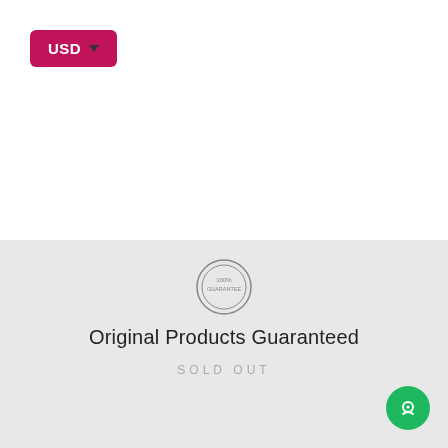[Figure (other): Pink/magenta USD currency selector button with dropdown arrow]
[Figure (other): Black vertical NOTIFY ME button on right edge]
[Figure (other): 100% Guarantee circular badge icon]
Original Products Guaranteed
SOLD OUT
[Figure (other): Green circular chat/support button at bottom right]